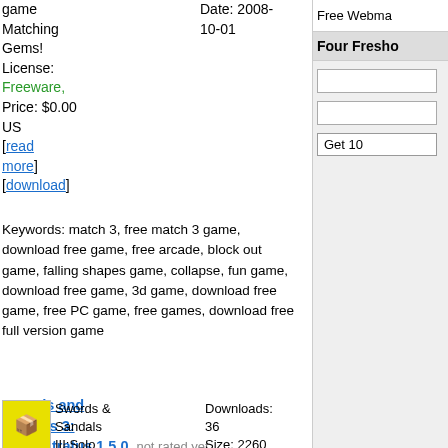game Matching Gems! License: Freeware, Price: $0.00 US [read more] [download]
Date: 2008-10-01
Free Webma
Four Fresho
Keywords: match 3, free match 3 game, download free game, free arcade, block out game, falling shapes game, collapse, fun game, download free game, 3d game, download free game, free PC game, free games, download free full version game
Swords and Sandals 3: Solo Ultratus 1.5.0   not rated yet...   by: 3rd sense
Swords & Sandals III:Solo Ultratus hurls you into the   Downloads: 36  Size: 2260 K  Date: 2008-09-26